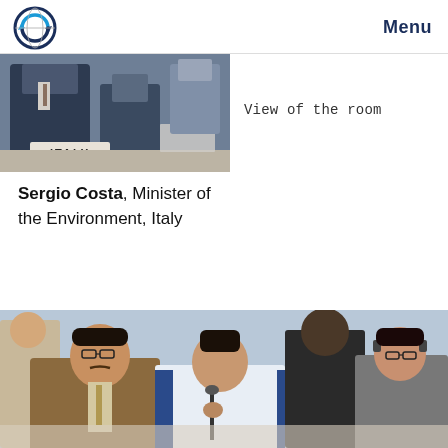Menu
[Figure (photo): A man in a dark suit seated at a conference table with a nameplate reading ITALY visible in the foreground — view of the room at an international conference.]
View of the room
Sergio Costa, Minister of the Environment, Italy
Nicolás Gauna, Argentina
Joshtrom Isaac Kureethadam, Holy See
[Figure (photo): Several delegates seated at a conference table, including a man with glasses and a mustache in a brown jacket, a man in a blue and white jacket speaking into a microphone, and a woman with glasses in a grey jacket.]